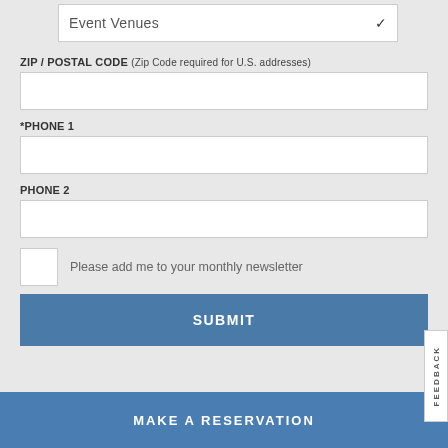Event Venues
ZIP / POSTAL CODE (Zip Code required for U.S. addresses)
*PHONE 1
PHONE 2
Please add me to your monthly newsletter
SUBMIT
FEEDBACK
MAKE A RESERVATION